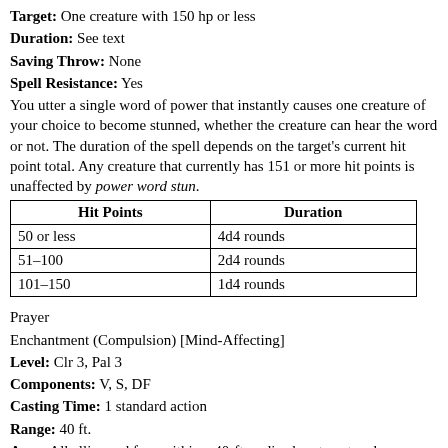Target: One creature with 150 hp or less
Duration: See text
Saving Throw: None
Spell Resistance: Yes
You utter a single word of power that instantly causes one creature of your choice to become stunned, whether the creature can hear the word or not. The duration of the spell depends on the target's current hit point total. Any creature that currently has 151 or more hit points is unaffected by power word stun.
| Hit Points | Duration |
| --- | --- |
| 50 or less | 4d4 rounds |
| 51–100 | 2d4 rounds |
| 101–150 | 1d4 rounds |
Prayer
Enchantment (Compulsion) [Mind-Affecting]
Level: Clr 3, Pal 3
Components: V, S, DF
Casting Time: 1 standard action
Range: 40 ft.
Area: All allies and foes within a 40-ft.-radius burst centered on you
Duration: 1 round/level
Saving Throw: None